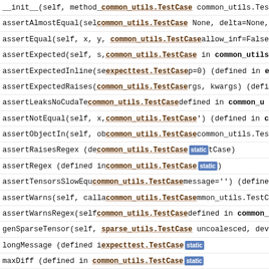__init__(self, method_name=...) (defined in common_utils.TestCase)
assertAlmostEqual(self, ...) (defined in common_utils.TestCase) None, delta=None, a...
assertEqual(self, x, y, ...) (defined in common_utils.TestCase) allow_inf=False) (define...
assertExpected(self, s, ...) (defined in common_utils.TestCase) in common_utils.Te...
assertExpectedInline(self, ...) (defined in expecttest.TestCase) p=0) (defined in expectte...
assertExpectedRaises(self, ...) (defined in common_utils.TestCase) rgs, kwargs) (defined...
assertLeaksNoCudaTensors(self, ...) (defined in common_utils.TestCase) defined in common_u...
assertNotEqual(self, x, ...) (defined in common_utils.TestCase) ) (defined in common...
assertObjectIn(self, obj, ...) (defined in common_utils.TestCase) common_utils.TestCase
assertRaisesRegex (defined in common_utils.TestCase) [static]
assertRegex (defined in common_utils.TestCase) [static]
assertTensorsSlowEqual(self, ...) (defined in common_utils.TestCase) message='') (defined i...
assertWarns(self, callabe, ...) (defined in common_utils.TestCase) mmon_utils.TestCase
assertWarnsRegex(self, callable, ...) (defined in common_utils.TestCase) defined in common_...
genSparseTensor(self, sparse_utils.TestCase, ...) uncoalesced, device=...
longMessage (defined in expecttest.TestCase) [static]
maxDiff (defined in common_utils.TestCase) [static]
precision (defined in common_utils.TestCase) [static]
rand_batch(self, dims) (defined in TestBatched) (defined in TestBatched)
safeCoalesce(self, t) (defined in common_utils.TestCase)
safeToDense(self, t) (defined in common_utils.TestCase)
setUp(self) (defined in common_utils.TestCase)